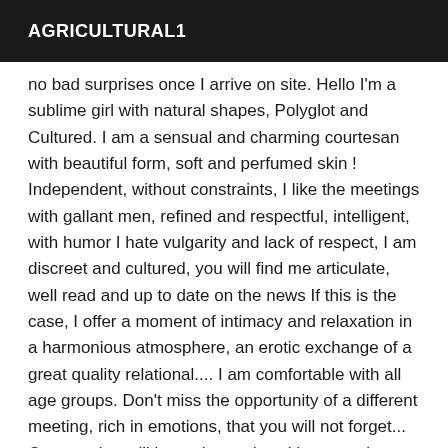AGRICULTURAL1
no bad surprises once I arrive on site. Hello I'm a sublime girl with natural shapes, Polyglot and Cultured. I am a sensual and charming courtesan with beautiful form, soft and perfumed skin ! Independent, without constraints, I like the meetings with gallant men, refined and respectful, intelligent, with humor I hate vulgarity and lack of respect, I am discreet and cultured, you will find me articulate, well read and up to date on the news If this is the case, I offer a moment of intimacy and relaxation in a harmonious atmosphere, an erotic exchange of a great quality relational.... I am comfortable with all age groups. Don't miss the opportunity of a different meeting, rich in emotions, that you will not forget... Our meeting will be a nice and exciting experience for both of us. From the first minutes of our meeting, you will know deep down inside that you made the right choice... Gentlemen, your anonymity and my discretion will be my watchwords. Let yourself be